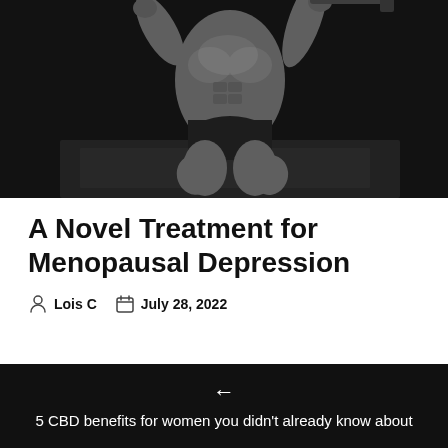[Figure (photo): Black and white photograph of a muscular shirtless man exercising, lifting weight or performing a CrossFit movement, dark gym background]
A Novel Treatment for Menopausal Depression
Lois C   July 28, 2022
← 5 CBD benefits for women you didn't already know about